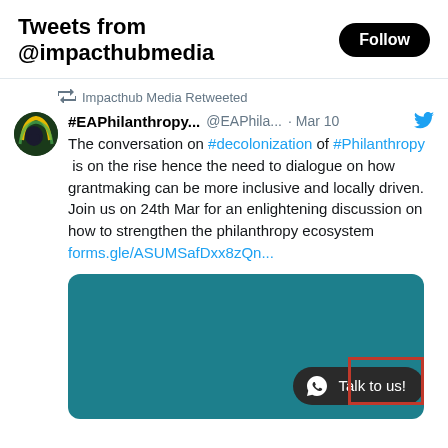Tweets from @impacthubmedia
Impacthub Media Retweeted
#EAPhilanthropy...  @EAPhila...  · Mar 10
The conversation on #decolonization of #Philanthropy  is on the rise hence the need to dialogue on how grantmaking can be more inclusive and locally driven.
Join us on 24th Mar for an enlightening discussion on how to strengthen the philanthropy ecosystem forms.gle/ASUMSafDxx8zQn...
[Figure (screenshot): Teal/dark cyan colored image card embedded in tweet]
Talk to us!